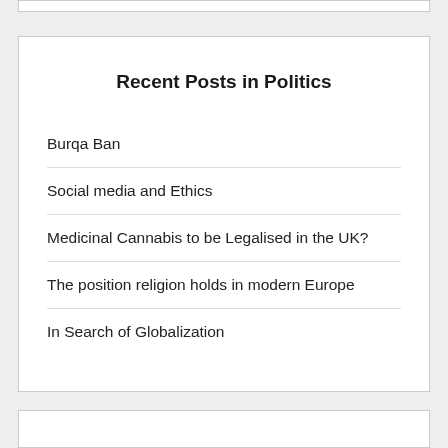Recent Posts in Politics
Burqa Ban
Social media and Ethics
Medicinal Cannabis to be Legalised in the UK?
The position religion holds in modern Europe
In Search of Globalization